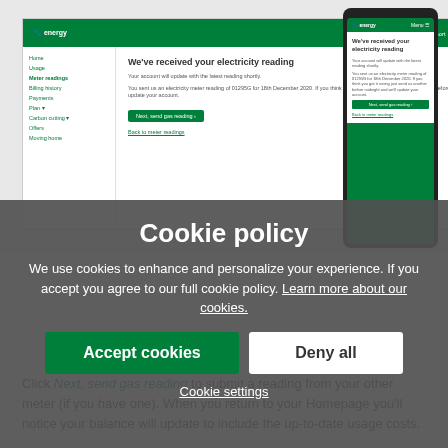[Figure (screenshot): Desktop and mobile screenshots of an energy company website showing 'We've received your electricity reading' confirmation page with green header, navigation sidebar, and action buttons]
Cookie policy
We use cookies to enhance and personalize your experience. If you accept you agree to our full cookie policy. Learn more about our cookies.
Accept cookies
Deny all
Cookie settings
Click Next, send gas reading to submit a reading from your other meter (if you have one). When you return to your Homepage you'll notice your balance will update to include the up-to-date usage costs.